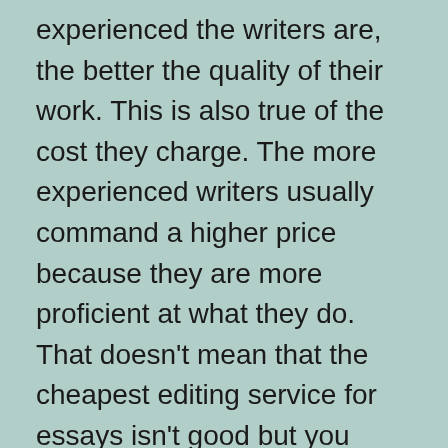experienced the writers are, the better the quality of their work. This is also true of the cost they charge. The more experienced writers usually command a higher price because they are more proficient at what they do. That doesn't mean that the cheapest editing service for essays isn't good but you should shop around and find out the top writers for your task.
Anti-Plagiarism https://www.paperwritings.com Protection: Sometimes it is difficult to know whether a specific essay writing service uses the latest technology that detects plagiarism